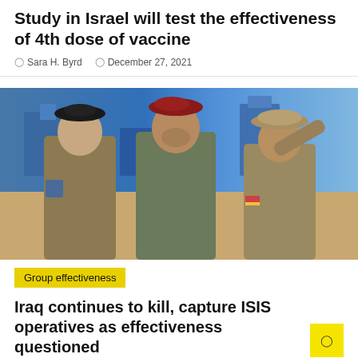Study in Israel will test the effectiveness of 4th dose of vaccine
Sara H. Byrd   December 27, 2021
[Figure (photo): Three military personnel in camouflage uniforms standing outdoors. The center figure wears a red beret, the left figure wears a black beret, and the right figure wears a tan bucket hat. One soldier on the right is pointing or gesturing with their hand raised. A colorful mural or painted wall is visible in the background.]
Group effectiveness
Iraq continues to kill, capture ISIS operatives as effectiveness questioned